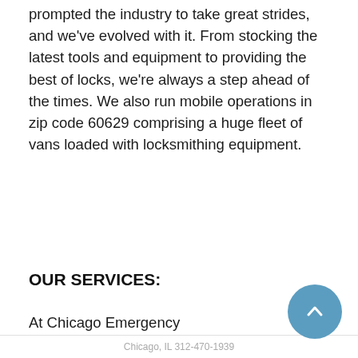prompted the industry to take great strides, and we've evolved with it. From stocking the latest tools and equipment to providing the best of locks, we're always a step ahead of the times. We also run mobile operations in zip code 60629 comprising a huge fleet of vans loaded with locksmithing equipment.
OUR SERVICES:
At Chicago Emergency Locksmith, we provide a comprehensive bouquet of locksmith services. From mending locks to there's nothing w scores of clients residential sector on time and at re
[Figure (other): Popup overlay showing business name and phone: Chicago Emergency Locksmith Chicago, IL 312-470-1939]
Here's an ove
All types of keys
[Figure (other): Blue circular scroll-to-top button with upward arrow icon, positioned in bottom-right corner]
Chicago, IL 312-470-1939